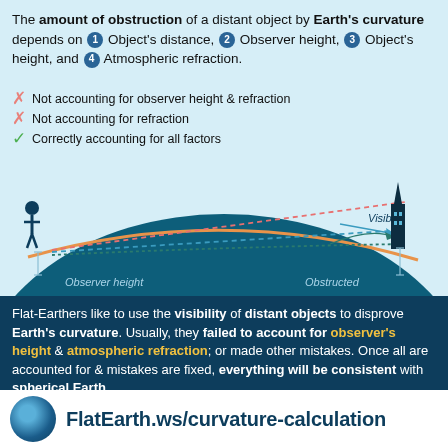The amount of obstruction of a distant object by Earth's curvature depends on ❶ Object's distance, ❷ Observer height, ❸ Object's height, and ❹ Atmospheric refraction.
✗ Not accounting for observer height & refraction
✗ Not accounting for refraction
✓ Correctly accounting for all factors
[Figure (infographic): Diagram showing Earth's curved surface with an observer on the left and a tall building on the right. Three lines (dashed/dotted) extend from observer to building at different angles representing the three calculation methods. Labels show 'Observer height', 'Obstructed', and 'Visible'.]
Flat-Earthers like to use the visibility of distant objects to disprove Earth's curvature. Usually, they failed to account for observer's height & atmospheric refraction; or made other mistakes. Once all are accounted for & mistakes are fixed, everything will be consistent with spherical Earth.
FlatEarth.ws/curvature-calculation